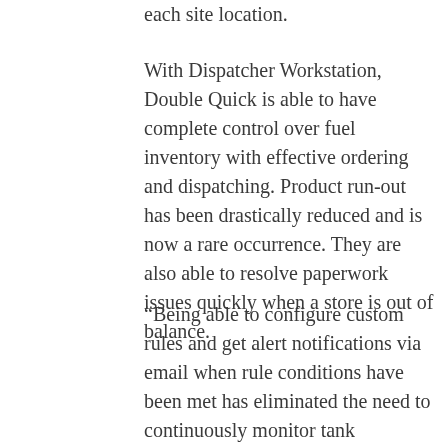each site location.
With Dispatcher Workstation, Double Quick is able to have complete control over fuel inventory with effective ordering and dispatching. Product run-out has been drastically reduced and is now a rare occurrence. They are also able to resolve paperwork issues quickly when a store is out of balance.
“Being able to configure custom rules and get alert notifications via email when rule conditions have been met has eliminated the need to continuously monitor tank inventories,” says Carson Crawford, Staff